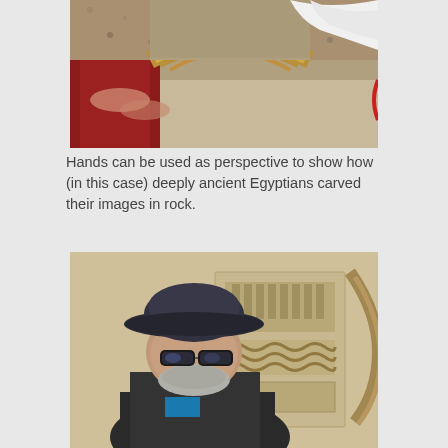[Figure (photo): Close-up photo showing hands near deeply carved ancient Egyptian architectural detail with a dark red/maroon column and stone with a white fabric visible in the corner.]
Hands can be used as perspective to show how (in this case) deeply ancient Egyptians carved their images in rock.
[Figure (photo): Photo of an older man wearing a wide-brimmed dark hat and reflective sunglasses, standing in front of a sandstone wall with deeply carved ancient Egyptian hieroglyphic reliefs.]